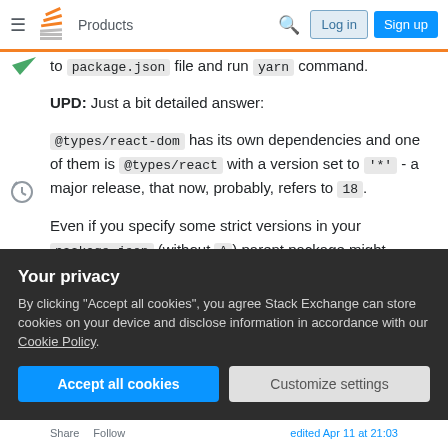Stack Overflow navigation: hamburger menu, logo, Products, search, Log in, Sign up
to package.json file and run yarn command.
UPD: Just a bit detailed answer:
@types/react-dom has its own dependencies and one of them is @types/react with a version set to '*' - a major release, that now, probably, refers to 18.
Even if you specify some strict versions in your package.json (without ^) parent package might
Your privacy
By clicking "Accept all cookies", you agree Stack Exchange can store cookies on your device and disclose information in accordance with our Cookie Policy.
Share  Follow    edited Apr 11 at 21:03